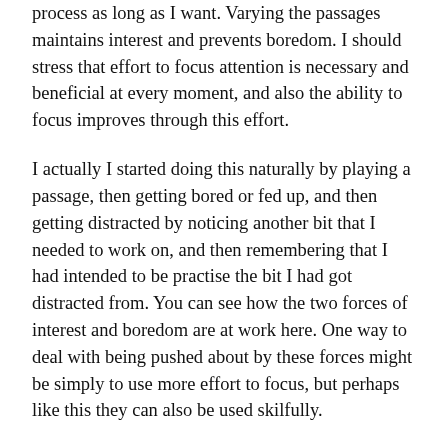process as long as I want. Varying the passages maintains interest and prevents boredom. I should stress that effort to focus attention is necessary and beneficial at every moment, and also the ability to focus improves through this effort.
I actually I started doing this naturally by playing a passage, then getting bored or fed up, and then getting distracted by noticing another bit that I needed to work on, and then remembering that I had intended to be practise the bit I had got distracted from. You can see how the two forces of interest and boredom are at work here. One way to deal with being pushed about by these forces might be simply to use more effort to focus, but perhaps like this they can also be used skilfully.
So the aim is to keep interest high, and therefore attention focussed. Boredom, on the other hand can be noticed and used as an indicator of when the necessary